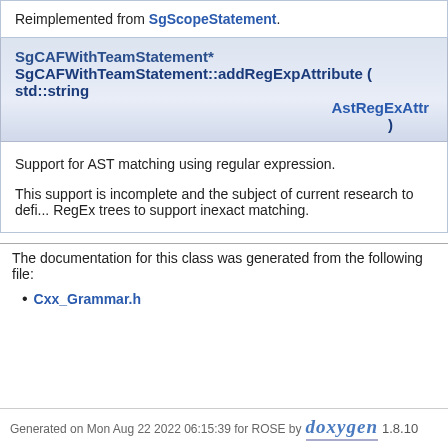Reimplemented from SgScopeStatement.
SgCAFWithTeamStatement* SgCAFWithTeamStatement::addRegExpAttribute ( std::string  AstRegExAttr )
Support for AST matching using regular expression.
This support is incomplete and the subject of current research to define RegEx trees to support inexact matching.
The documentation for this class was generated from the following file:
Cxx_Grammar.h
Generated on Mon Aug 22 2022 06:15:39 for ROSE by doxygen 1.8.10